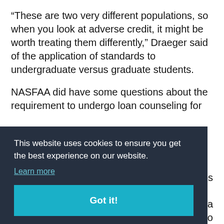“These are two very different populations, so when you look at adverse credit, it might be worth treating them differently,” Draeger said of the application of standards to undergraduate versus graduate students.
NASFAA did have some questions about the requirement to undergo loan counseling for those with adverse credit histories [partial, cut off by overlay]
[Cookie consent overlay] This website uses cookies to ensure you get the best experience on our website. Learn more. Got it!
such counseling. [partial bottom text]